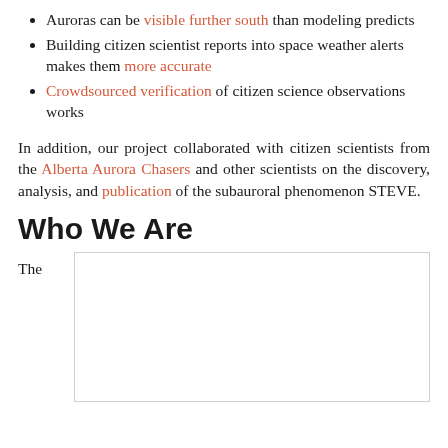Auroras can be visible further south than modeling predicts
Building citizen scientist reports into space weather alerts makes them more accurate
Crowdsourced verification of citizen science observations works
In addition, our project collaborated with citizen scientists from the Alberta Aurora Chasers and other scientists on the discovery, analysis, and publication of the subauroral phenomenon STEVE.
Who We Are
The
[Figure (other): Empty bordered box placeholder for an image or content block]